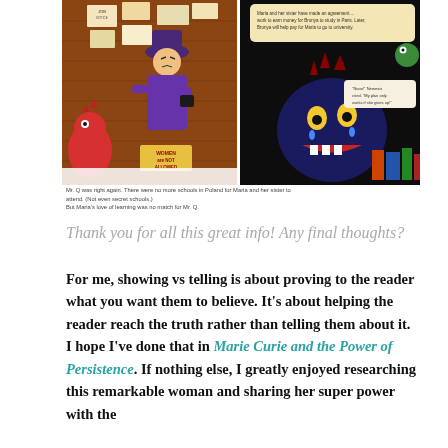[Figure (illustration): Two illustrated scenes from a children's book about Marie Curie. Left panel shows a monster in a purple dress with arms crossed standing in front of job notice boards with a sign 'Women Not Allowed', with a small red dragon beside her. Right panel shows a crying dark monster with teeth and a speech bubble. Text overlays describe narrative context.]
Mr. Q was right again. There were no more schools in Poland for Maria and her sister to attend. (Not even secret schools.) But Maria's love of learning was no match for Mr. Q.
Thank you for all this great info! Any final thoughts?
For me, showing vs telling is about proving to the reader what you want them to believe. It's about helping the reader reach the truth rather than telling them about it. I hope I've done that in Marie Curie and the Power of Persistence. If nothing else, I greatly enjoyed researching this remarkable woman and sharing her super power with the